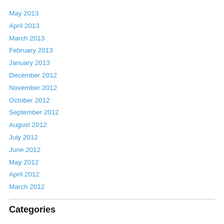May 2013
April 2013
March 2013
February 2013
January 2013
December 2012
November 2012
October 2012
September 2012
August 2012
July 2012
June 2012
May 2012
April 2012
March 2012
Categories
Daily Articles